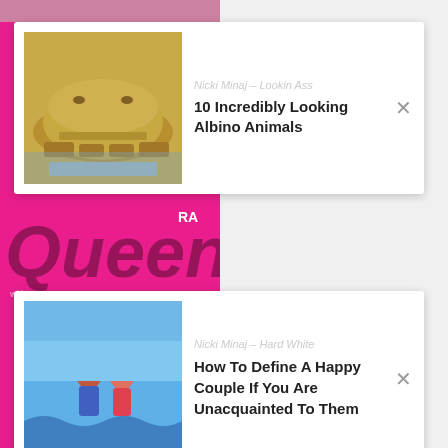[Figure (screenshot): Pink background with partial image strip at top]
[Figure (screenshot): Card with albino alligator image and ghost title 'Nicki Minaj - Lookin Ass']
Nicki Minaj – Lookin Ass
10 Incredibly Looking Albino Animals
[Figure (screenshot): Pink section with Queen Ra text overlay]
[Figure (screenshot): Card with couple on beach and ghost title 'Nicki Minaj - Hard White']
Nicki Minaj – Hard White
How To Define A Happy Couple If You Are Unacquainted To Them
Nicki Minaj – Seeing Green
MUSIC CHART
SONG OF THE YEAR
VIDEO OF THE YEAR